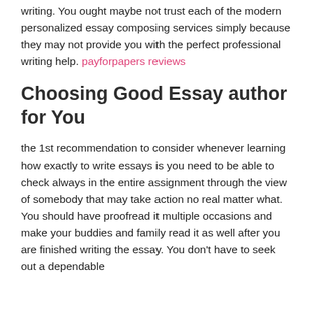writing. You ought maybe not trust each of the modern personalized essay composing services simply because they may not provide you with the perfect professional writing help. payforpapers reviews
Choosing Good Essay author for You
the 1st recommendation to consider whenever learning how exactly to write essays is you need to be able to check always in the entire assignment through the view of somebody that may take action no real matter what. You should have proofread it multiple occasions and make your buddies and family read it as well after you are finished writing the essay. You don't have to seek out a dependable